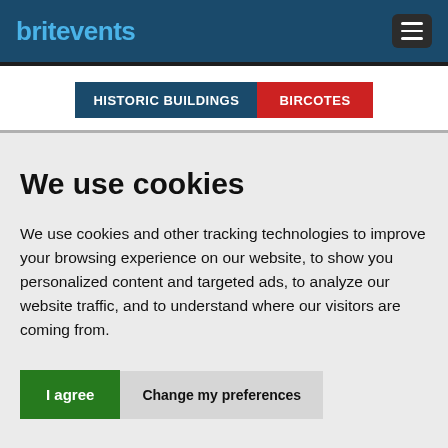britevents
HISTORIC BUILDINGS  BIRCOTES
We use cookies
We use cookies and other tracking technologies to improve your browsing experience on our website, to show you personalized content and targeted ads, to analyze our website traffic, and to understand where our visitors are coming from.
I agree  Change my preferences